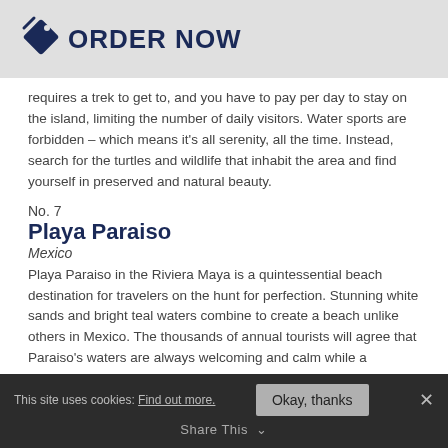ORDER NOW
requires a trek to get to, and you have to pay per day to stay on the island, limiting the number of daily visitors. Water sports are forbidden – which means it's all serenity, all the time. Instead, search for the turtles and wildlife that inhabit the area and find yourself in preserved and natural beauty.
No. 7
Playa Paraiso
Mexico
Playa Paraiso in the Riviera Maya is a quintessential beach destination for travelers on the hunt for perfection. Stunning white sands and bright teal waters combine to create a beach unlike others in Mexico. The thousands of annual tourists will agree that Paraiso's waters are always welcoming and calm while a bounteous coral reef rests just offshore for an adventurous snorkeling or scuba diving session. For those who want a tranquil getaway, Paraiso is their paradise with soft sands just waiting to be relaxed on while the 290 annual days of sun offer a sun-kissed glow. With an average
This site uses cookies: Find out more. Okay, thanks Share This ✕